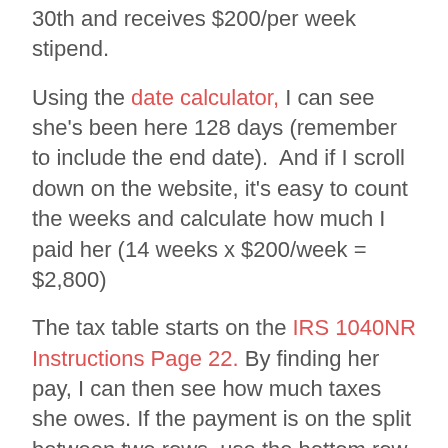30th and receives $200/per week stipend.
Using the date calculator, I can see she's been here 128 days (remember to include the end date).  And if I scroll down on the website, it's easy to count the weeks and calculate how much I paid her (14 weeks x $200/week = $2,800)
The tax table starts on the IRS 1040NR Instructions Page 22. By finding her pay, I can then see how much taxes she owes. If the payment is on the split between two rows, use the bottom row. See the red box in the screenshot below.